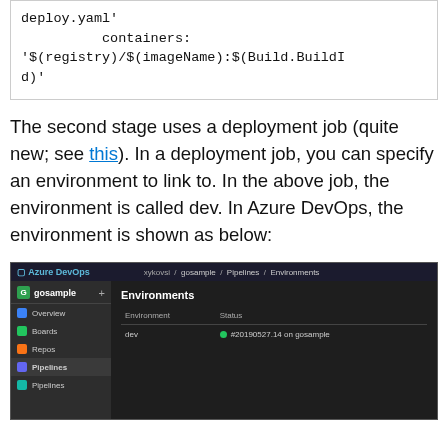[Figure (screenshot): Code block showing YAML deployment configuration with deploy.yaml, containers, registry/imageName and Build.BuildId variables]
The second stage uses a deployment job (quite new; see this). In a deployment job, you can specify an environment to link to. In the above job, the environment is called dev. In Azure DevOps, the environment is shown as below:
[Figure (screenshot): Azure DevOps dark UI screenshot showing Environments page with a 'dev' environment listed and status #20190527.14 on gosample]